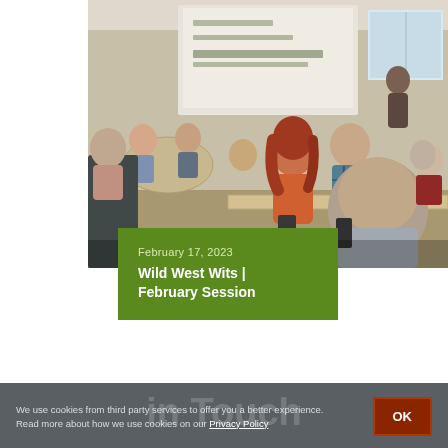[Figure (photo): Indoor group session: audience seated at round and long tables, backs to camera, facing a presenter at a screen/whiteboard at the front of a meeting room. Several adults visible, overhead projector screen with text.]
February 17, 2023
Wild West Wits | February Session
We use cookies from third party services to offer you a better experience. Read more about how we use cookies on our Privacy Policy
OK